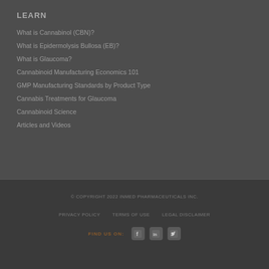LEARN
What is Cannabinol (CBN)?
What is Epidermolysis Bullosa (EB)?
What is Glaucoma?
Cannabinoid Manufacturing Economics 101
GMP Manufacturing Standards by Product Type
Cannabis Treatments for Glaucoma
Cannabinoid Science
Articles and Videos
© COPYRIGHT 2022 INMED PHARMACEUTICALS INC.
PRIVACY POLICY   TERMS OF USE   LEGAL DISCLAIMER
FIND US ON: